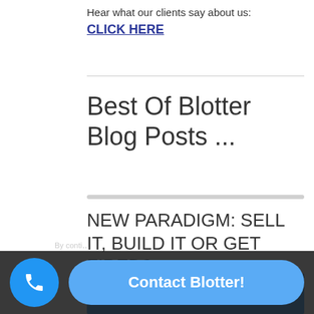Hear what our clients say about us:
CLICK HERE
Best Of Blotter Blog Posts ...
NEW PARADIGM: SELL IT, BUILD IT OR GET FIRED?
[Figure (screenshot): Blue image strip at bottom of article section]
Contact Blotter!